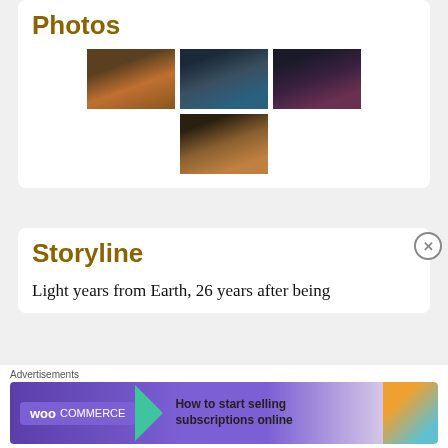Photos
[Figure (photo): Grid of 4 movie stills from Guardians of the Galaxy: shirtless man in spaceship, tree creature dancing, man in red jacket, group of characters in yellow prison uniforms]
Storyline
Light years from Earth, 26 years after being
Advertisements
[Figure (screenshot): WooCommerce advertisement banner: How to start selling subscriptions online]